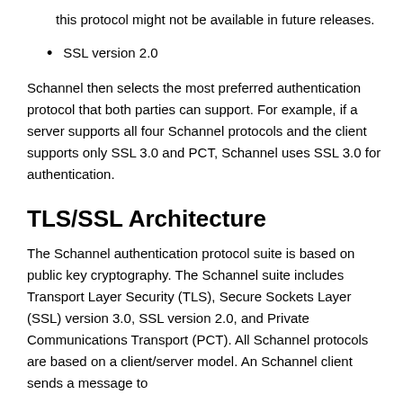this protocol might not be available in future releases.
SSL version 2.0
Schannel then selects the most preferred authentication protocol that both parties can support. For example, if a server supports all four Schannel protocols and the client supports only SSL 3.0 and PCT, Schannel uses SSL 3.0 for authentication.
TLS/SSL Architecture
The Schannel authentication protocol suite is based on public key cryptography. The Schannel suite includes Transport Layer Security (TLS), Secure Sockets Layer (SSL) version 3.0, SSL version 2.0, and Private Communications Transport (PCT). All Schannel protocols are based on a client/server model. An Schannel client sends a message to